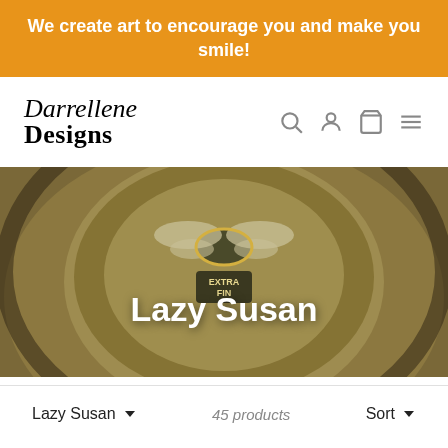We create art to encourage you and make you smile!
[Figure (logo): Darrellene Designs logo with script and serif lettering, and navigation icons (search, account, cart, menu)]
[Figure (photo): Decorative ceramic lazy susan with bee and floral motif, 'EXTRA FIN' text visible on product]
Lazy Susan
Lazy Susan  45 products  Sort